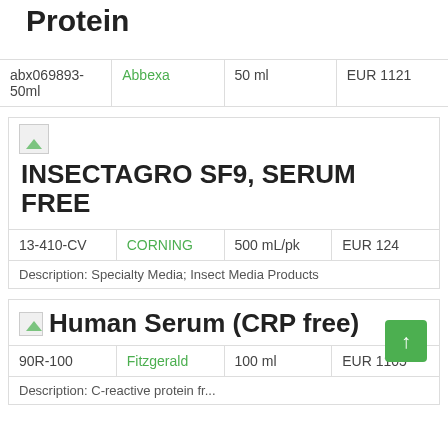Protein
| ID | Supplier | Size | Price |
| --- | --- | --- | --- |
| abx069893-50ml | Abbexa | 50 ml | EUR 1121 |
[Figure (illustration): Small product image placeholder]
INSECTAGRO SF9, SERUM FREE
| ID | Supplier | Size | Price |
| --- | --- | --- | --- |
| 13-410-CV | CORNING | 500 mL/pk | EUR 124 |
Description: Specialty Media; Insect Media Products
[Figure (illustration): Small product image placeholder]
Human Serum (CRP free)
| ID | Supplier | Size | Price |
| --- | --- | --- | --- |
| 90R-100 | Fitzgerald | 100 ml | EUR 1105 |
Description: C-reactive protein free serum...